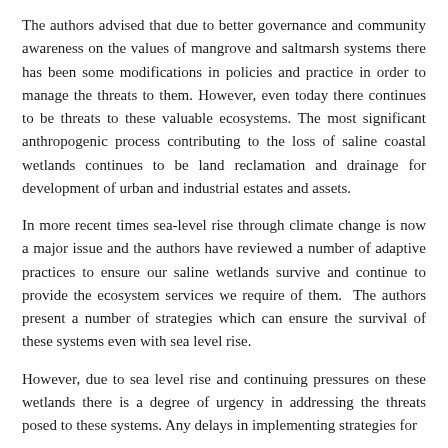The authors advised that due to better governance and community awareness on the values of mangrove and saltmarsh systems there has been some modifications in policies and practice in order to manage the threats to them. However, even today there continues to be threats to these valuable ecosystems. The most significant anthropogenic process contributing to the loss of saline coastal wetlands continues to be land reclamation and drainage for development of urban and industrial estates and assets.
In more recent times sea-level rise through climate change is now a major issue and the authors have reviewed a number of adaptive practices to ensure our saline wetlands survive and continue to provide the ecosystem services we require of them.  The authors present a number of strategies which can ensure the survival of these systems even with sea level rise.
However, due to sea level rise and continuing pressures on these wetlands there is a degree of urgency in addressing the threats posed to these systems. Any delays in implementing strategies for